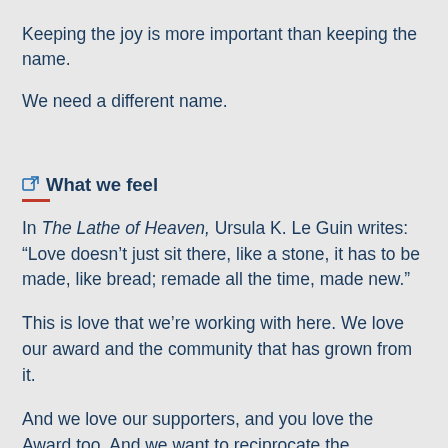Keeping the joy is more important than keeping the name.
We need a different name.
What we feel
In The Lathe of Heaven, Ursula K. Le Guin writes: “Love doesn’t just sit there, like a stone, it has to be made, like bread; remade all the time, made new.”
This is love that we’re working with here. We love our award and the community that has grown from it.
And we love our supporters, and you love the Award too. And we want to reciprocate the hospitality you have shown us. Which involves not just logistical work, (figuratively)